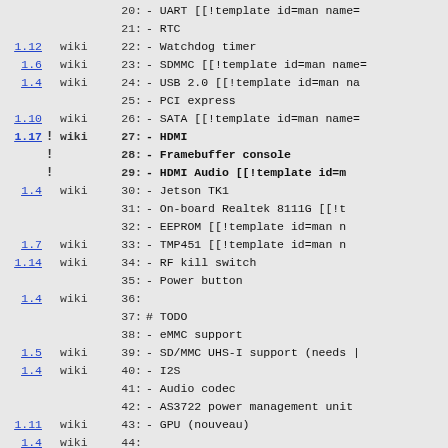Source code view with version annotations and wiki markers showing lines 20-50 of a kernel/driver feature list and boot script configuration for Jetson TK1
| version | bang | wiki | line_num | content |
| --- | --- | --- | --- | --- |
|  |  |  | 20: | - UART [[!template id=man name= |
|  |  |  | 21: | - RTC |
| 1.12 |  | wiki | 22: | - Watchdog timer |
| 1.6 |  | wiki | 23: | - SDMMC [[!template id=man name= |
| 1.4 |  | wiki | 24: | - USB 2.0 [[!template id=man na |
|  |  |  | 25: | - PCI express |
| 1.10 |  | wiki | 26: | - SATA [[!template id=man name= |
| 1.17 | ! | wiki | 27: | - HDMI |
|  | ! |  | 28: | - Framebuffer console |
|  | ! |  | 29: | - HDMI Audio [[!template id=m |
| 1.4 |  | wiki | 30: | - Jetson TK1 |
|  |  |  | 31: | - On-board Realtek 8111G [[!t |
|  |  |  | 32: | - EEPROM [[!template id=man n |
| 1.7 |  | wiki | 33: | - TMP451 [[!template id=man n |
| 1.14 |  | wiki | 34: | - RF kill switch |
|  |  |  | 35: | - Power button |
| 1.4 |  | wiki | 36: |  |
|  |  |  | 37: | # TODO |
|  |  |  | 38: | - eMMC support |
| 1.5 |  | wiki | 39: | - SD/MMC UHS-I support (needs | |
| 1.4 |  | wiki | 40: | - I2S |
|  |  |  | 41: | - Audio codec |
|  |  |  | 42: | - AS3722 power management unit |
| 1.11 |  | wiki | 43: | - GPU (nouveau) |
| 1.4 |  | wiki | 44: |  |
| 1.1 |  | wiki | 45: | # Generating a boot script |
|  |  |  | 46: |  |
|  |  |  | 47: | [[!template id=programlisting t |
|  |  |  | 48: | $ cat boot.txt |
| 1.3 |  | wiki | 49: | setenv bootargs root=ld1a |
| 1.1 |  | wiki | 50: | fatload mmc 1:1 0x99999999 path |